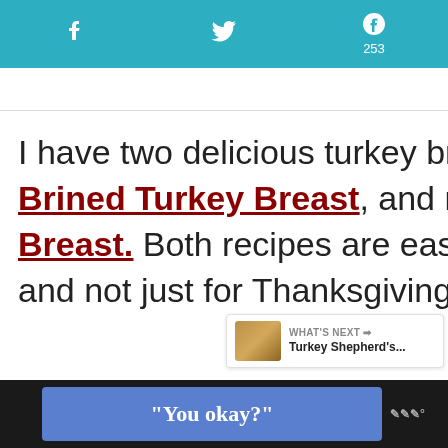Social share bar with Facebook, Twitter, Pinterest (253)
I have two delicious turkey breast recipes, my Herb Brined Turkey Breast, and my Slow Cooker Turkey Breast. Both recipes are easy to make all year long and not just for Thanksgiving.
[Figure (screenshot): What's Next panel showing Turkey Shepherd's...]
"You okay?" advertisement banner